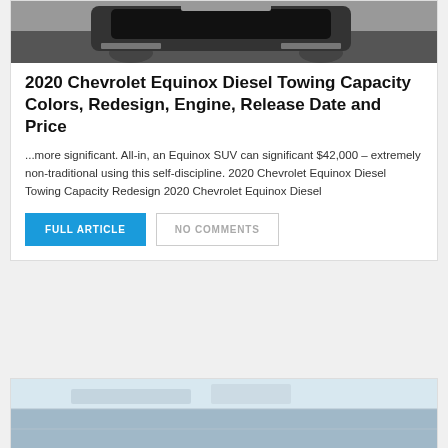[Figure (photo): Black Chevrolet Equinox SUV driving on a road, partially visible at top of card]
2020 Chevrolet Equinox Diesel Towing Capacity Colors, Redesign, Engine, Release Date and Price
...more significant. All-in, an Equinox SUV can significant $42,000 – extremely non-traditional using this self-discipline. 2020 Chevrolet Equinox Diesel Towing Capacity Redesign 2020 Chevrolet Equinox Diesel
FULL ARTICLE
NO COMMENTS
[Figure (photo): Partial view of a car exterior, bottom of page second card]